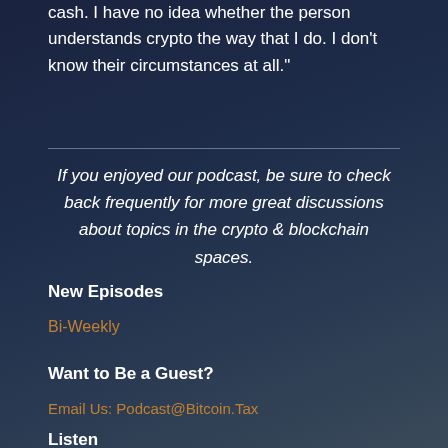cash. I have no idea whether the person understands crypto the way that I do. I don't know their circumstances at all."
If you enjoyed our podcast, be sure to check back frequently for more great discussions about topics in the crypto & blockchain spaces.
New Episodes
Bi-Weekly
Want to Be a Guest?
Email Us: Podcast@Bitcoin.Tax
Listen